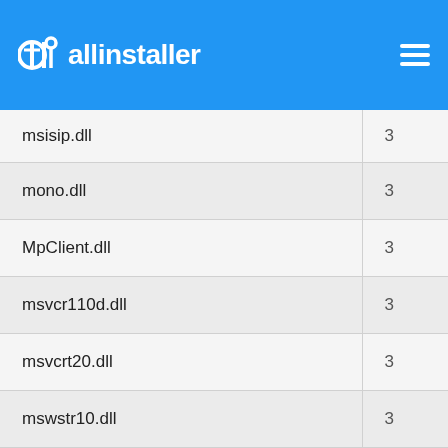allinstaller
| Filename | Count |
| --- | --- |
| msisip.dll | 3 |
| mono.dll | 3 |
| MpClient.dll | 3 |
| msvcr110d.dll | 3 |
| msvcrt20.dll | 3 |
| mswstr10.dll | 3 |
| mfc120.dll | 3 |
|  |  |